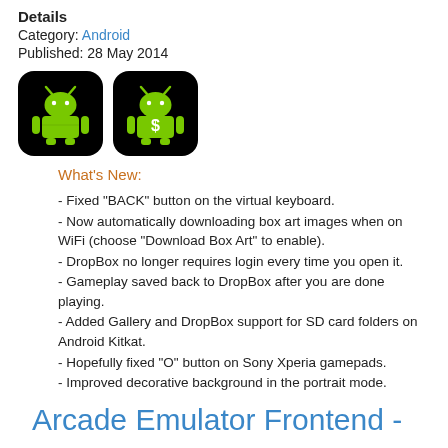Details
Category: Android
Published: 28 May 2014
[Figure (illustration): Two Android robot icons on black rounded square backgrounds; the second has a dollar sign on its chest.]
What's New:
- Fixed "BACK" button on the virtual keyboard.
- Now automatically downloading box art images when on WiFi (choose "Download Box Art" to enable).
- DropBox no longer requires login every time you open it.
- Gameplay saved back to DropBox after you are done playing.
- Added Gallery and DropBox support for SD card folders on Android Kitkat.
- Hopefully fixed "O" button on Sony Xperia gamepads.
- Improved decorative background in the portrait mode.
Arcade Emulator Frontend -